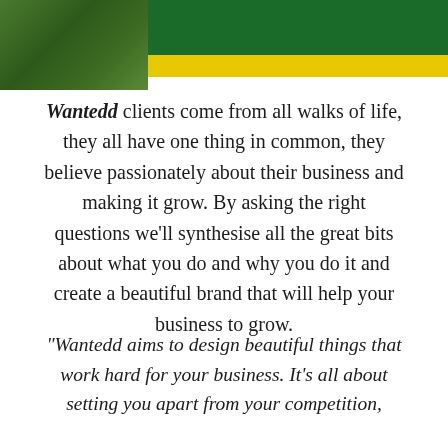[Figure (illustration): Header banner with dark green bar, yellow stripe, and green foliage photo on the left side]
Wantedd clients come from all walks of life, they all have one thing in common, they believe passionately about their business and making it grow. By asking the right questions we'll synthesise all the great bits about what you do and why you do it and create a beautiful brand that will help your business to grow.
"Wantedd aims to design beautiful things that work hard for your business. It's all about setting you apart from your competition,